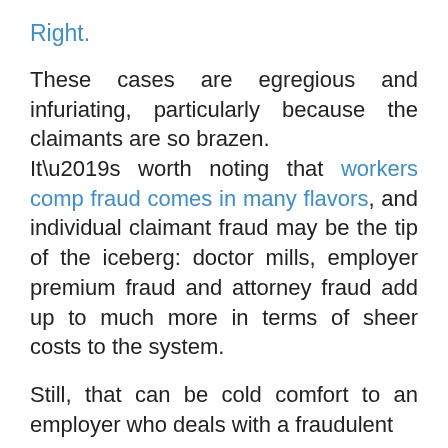Right.
These cases are egregious and infuriating, particularly because the claimants are so brazen.
It’s worth noting that workers comp fraud comes in many flavors, and individual claimant fraud may be the tip of the iceberg: doctor mills, employer premium fraud and attorney fraud add up to much more in terms of sheer costs to the system.
Still, that can be cold comfort to an employer who deals with a fraudulent